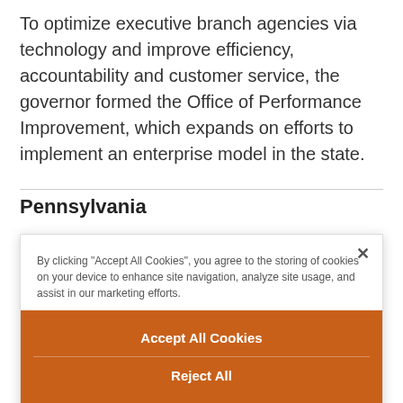To optimize executive branch agencies via technology and improve efficiency, accountability and customer service, the governor formed the Office of Performance Improvement, which expands on efforts to implement an enterprise model in the state.
Pennsylvania
By clicking "Accept All Cookies", you agree to the storing of cookies on your device to enhance site navigation, analyze site usage, and assist in our marketing efforts.
Accept All Cookies
Reject All
Cookies Settings